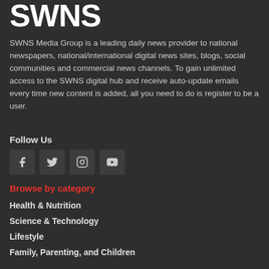SWNS
SWNS Media Group is a leading daily news provider to national newspapers, national/international digital news sites, blogs, social communities and commercial news channels. To gain unlimited access to the SWNS digital hub and receive auto-update emails every time new content is added, all you need to do is register to be a user.
Follow Us
[Figure (infographic): Four social media icon buttons: Facebook, Twitter, Instagram, YouTube]
Browse by category
Health & Nutrition
Science & Technology
Lifestyle
Family, Parenting, and Children